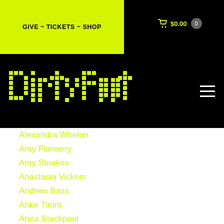GIVE ~ TICKETS ~ SHOP  🛒 $0.00  0
[Figure (logo): DirtyFeet pixelated yellow dot-matrix logo on black background]
Alexandra Whelan
Amy Flannery
Amy Stoakes
Anastasia Vickers
Andrew Bass
Anke Timm
Anna Stackpool
Anna Stathopoulos
Annalise Kirk